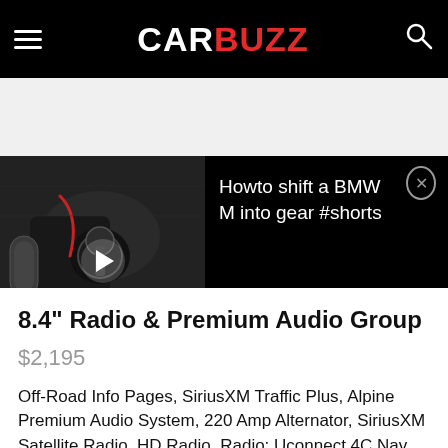CARBUZZ
[Figure (screenshot): Video thumbnail showing BMW M car interior with carbon fiber and gear shifter details, with a white play button overlay. Video title reads: Howto shift a BMW M into gear #shorts]
8.4" Radio & Premium Audio Group
$2,195
Off-Road Info Pages, SiriusXM Traffic Plus, Alpine Premium Audio System, 220 Amp Alternator, SiriusXM Satellite Radio, HD Radio, Radio: Uconnect 4C Nav w/8.4" Display, Rear View Auto Dim Mirror, 1-Year SiriusXM Guardian Trial, 5-Year SiriusXM Travel Link Service, GPS Navigation, 5-Year SiriusXM Traffic Service, SiriusXM